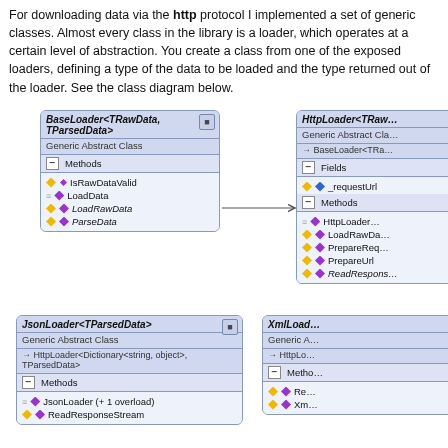For downloading data via the http protocol I implemented a set of generic classes. Almost every class in the library is a loader, which operates at a certain level of abstraction. You create a class from one of the exposed loaders, defining a type of the data to be loaded and the type returned out of the loader. See the class diagram below.
[Figure (engineering-diagram): UML class diagram showing BaseLoader<TRawData, TParsedData> (Generic Abstract Class) with Methods: IsRawDataValid, LoadData, LoadRawData (italic), ParseData (italic); HttpLoader<TRaw...> (Generic Abstract Class) extending BaseLoader<TRa...> with Fields: _requestUrl, Methods: HttpLoader..., LoadRawDa..., PrepareReq..., PrepareUrl, ReadRespons...; JsonLoader<TParsedData> (Generic Abstract Class) extending HttpLoader<Dictionary<string, object>, TParsedData> with Methods: JsonLoader (+1 overload), ReadResponseStream; XmlLoad... (Generic Abstract Class) extending HttpLo... with Methods: Re..., Xm...]